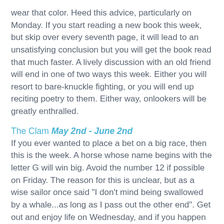wear that color. Heed this advice, particularly on Monday. If you start reading a new book this week, but skip over every seventh page, it will lead to an unsatisfying conclusion but you will get the book read that much faster. A lively discussion with an old friend will end in one of two ways this week. Either you will resort to bare-knuckle fighting, or you will end up reciting poetry to them. Either way, onlookers will be greatly enthralled.
The Clam May 2nd - June 2nd
If you ever wanted to place a bet on a big race, then this is the week. A horse whose name begins with the letter G will win big. Avoid the number 12 if possible on Friday. The reason for this is unclear, but as a wise sailor once said "I don't mind being swallowed by a whale...as long as I pass out the other end". Get out and enjoy life on Wednesday, and if you happen to spot a little Scallop who is in need of a good time then so much the better. But remember: Clams and Scallops, good. Clams and Scallops and alcohol, bad.
The Squid June 3rd - July 25th
It could be a good time this week to heed the warning